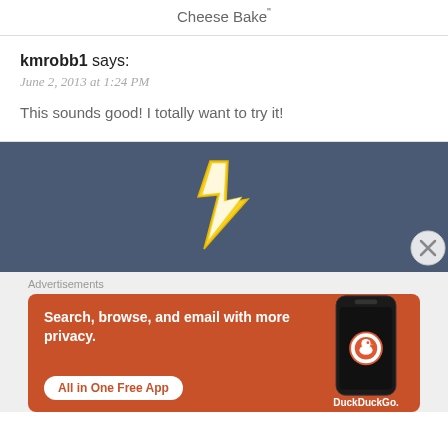Cheese Bake"
kmrobb1 says:
June 2, 2013 at 1:24 PM
This sounds good! I totally want to try it!
[Figure (illustration): Lightning bolt or cheese-shaped icon illustration in yellow/gold and white on dark blue background]
[Figure (illustration): Close/X button circle at bottom right]
Advertisements
[Figure (screenshot): DuckDuckGo advertisement banner with orange background. Text: Search, browse, and email with more privacy. All in One Free App. Shows phone with DuckDuckGo logo.]